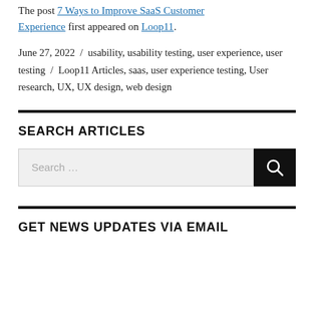The post 7 Ways to Improve SaaS Customer Experience first appeared on Loop11.
June 27, 2022 / usability, usability testing, user experience, user testing / Loop11 Articles, saas, user experience testing, User research, UX, UX design, web design
SEARCH ARTICLES
Search ...
GET NEWS UPDATES VIA EMAIL